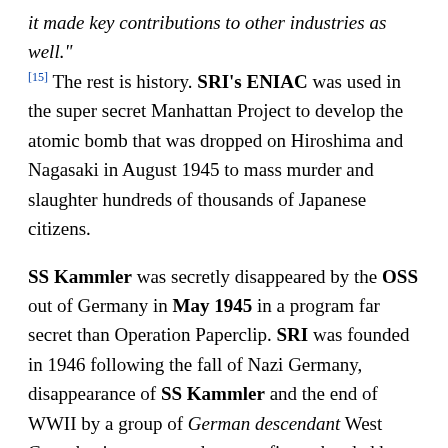it made key contributions to other industries as well." [15] The rest is history. SRI's ENIAC was used in the super secret Manhattan Project to develop the atomic bomb that was dropped on Hiroshima and Nagasaki in August 1945 to mass murder and slaughter hundreds of thousands of Japanese citizens.
SS Kammler was secretly disappeared by the OSS out of Germany in May 1945 in a program far secret than Operation Paperclip. SRI was founded in 1946 following the fall of Nazi Germany, disappearance of SS Kammler and the end of WWII by a group of German descendant West Coast businessmen and war profiteers headed by Stephen D. Bechtel, Sr. and Henry J. Kaiser. SRI grew to be the second-largest corporate-government "think tank" in the U.S. Its business was supplying government and industry with the latest in razor edge revolutionary